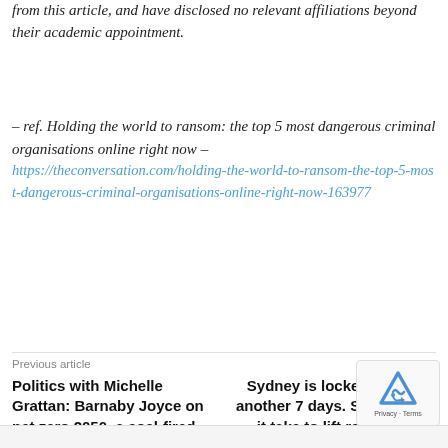from this article, and have disclosed no relevant affiliations beyond their academic appointment.
– ref. Holding the world to ransom: the top 5 most dangerous criminal organisations online right now – https://theconversation.com/holding-the-world-to-ransom-the-top-5-most-dangerous-criminal-organisations-online-right-now-163977
Previous article
Next article
Politics with Michelle Grattan: Barnaby Joyce on net zero 2050, a coal-fired power station – and how resources is (sort of) in cabinet
Sydney is locked down for another 7 days. So what will it take to lift restrictions?